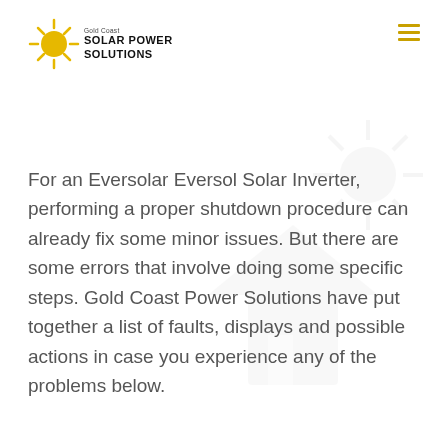[Figure (logo): Gold Coast Solar Power Solutions logo with sun icon and text]
For an Eversolar Eversol Solar Inverter, performing a proper shutdown procedure can already fix some minor issues. But there are some errors that involve doing some specific steps. Gold Coast Power Solutions have put together a list of faults, displays and possible actions in case you experience any of the problems below.